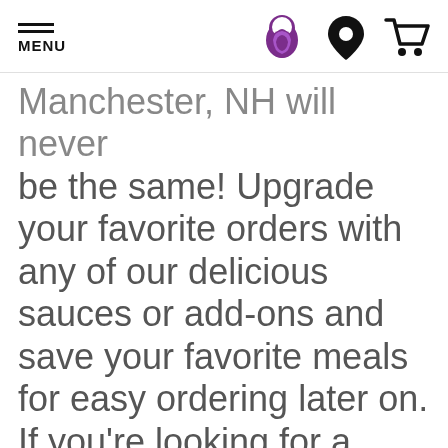MENU [Taco Bell logo] [location icon] [cart icon]
Manchester, NH will never be the same! Upgrade your favorite orders with any of our delicious sauces or add-ons and save your favorite meals for easy ordering later on. If you're looking for a great fast food option for lunch in Manchester, NH, Taco Bell